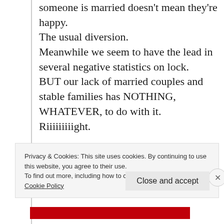someone is married doesn't mean they're happy.
The usual diversion.
Meanwhile we seem to have the lead in several negative statistics on lock.
BUT our lack of married couples and stable families has NOTHING, WHATEVER, to do with it.
Riiiiiiiiight.
Privacy & Cookies: This site uses cookies. By continuing to use this website, you agree to their use.
To find out more, including how to control cookies, see here: Cookie Policy
Close and accept